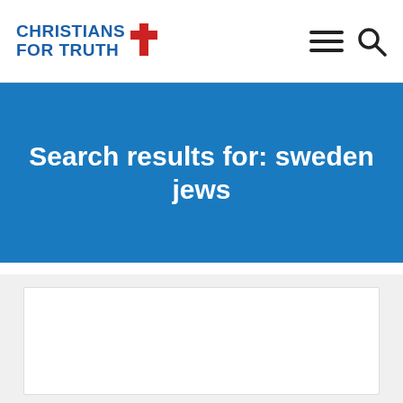CHRISTIANS FOR TRUTH
Search results for: sweden jews